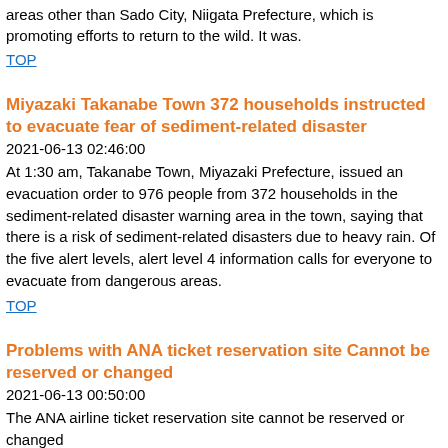areas other than Sado City, Niigata Prefecture, which is promoting efforts to return to the wild. It was.
TOP
Miyazaki Takanabe Town 372 households instructed to evacuate fear of sediment-related disaster
2021-06-13 02:46:00
At 1:30 am, Takanabe Town, Miyazaki Prefecture, issued an evacuation order to 976 people from 372 households in the sediment-related disaster warning area in the town, saying that there is a risk of sediment-related disasters due to heavy rain. Of the five alert levels, alert level 4 information calls for everyone to evacuate from dangerous areas.
TOP
Problems with ANA ticket reservation site Cannot be reserved or changed
2021-06-13 00:50:00
The ANA airline ticket reservation site...